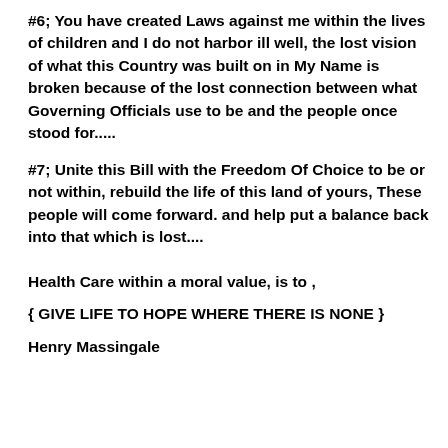#6; You have created Laws against me within the lives of children and I do not harbor ill well, the lost vision of what this Country was built on in My Name is broken because of the lost connection between what Governing Officials use to be and the people once stood for.....
#7; Unite this Bill with the Freedom Of Choice to be or not within, rebuild the life of this land of yours, These people will come forward. and help put a balance back into that which is lost....
Health Care within a moral value, is to ,
{ GIVE LIFE TO HOPE WHERE THERE IS NONE }
Henry Massingale